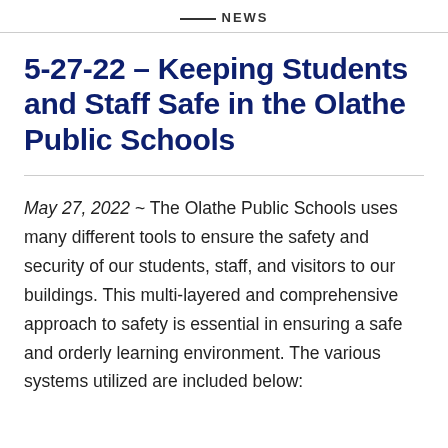NEWS
5-27-22 – Keeping Students and Staff Safe in the Olathe Public Schools
May 27, 2022 ~ The Olathe Public Schools uses many different tools to ensure the safety and security of our students, staff, and visitors to our buildings. This multi-layered and comprehensive approach to safety is essential in ensuring a safe and orderly learning environment. The various systems utilized are included below: